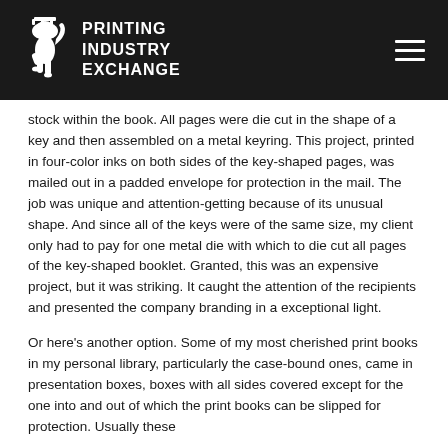PRINTING INDUSTRY EXCHANGE
stock within the book. All pages were die cut in the shape of a key and then assembled on a metal keyring. This project, printed in four-color inks on both sides of the key-shaped pages, was mailed out in a padded envelope for protection in the mail. The job was unique and attention-getting because of its unusual shape. And since all of the keys were of the same size, my client only had to pay for one metal die with which to die cut all pages of the key-shaped booklet. Granted, this was an expensive project, but it was striking. It caught the attention of the recipients and presented the company branding in a exceptional light.
Or here's another option. Some of my most cherished print books in my personal library, particularly the case-bound ones, came in presentation boxes, boxes with all sides covered except for the one into and out of which the print books can be slipped for protection. Usually these